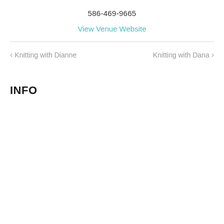586-469-9665
View Venue Website
< Knitting with Dianne
Knitting with Dana >
INFO